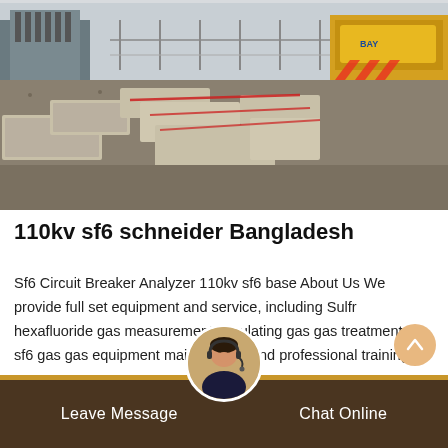[Figure (photo): Construction or industrial site showing concrete slabs/blocks laid on gravel ground, with a yellow truck on the right side, industrial structures and fencing in the background, overcast sky.]
110kv sf6 schneider Bangladesh
Sf6 Circuit Breaker Analyzer 110kv sf6 base About Us We provide full set equipment and service, including Sulfr hexafluoride gas measurement, insulating gas gas treatment, sf6 gas gas equipment maintenance and professional training.
Leave Message   Chat Online